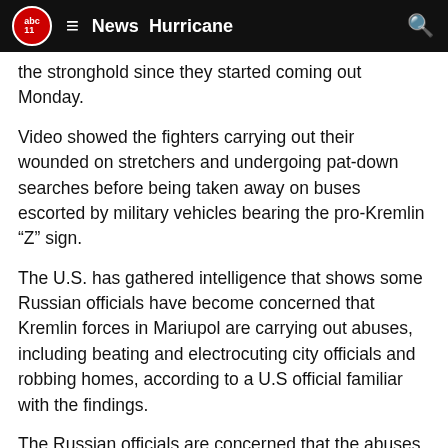abc11  ≡  News  Hurricane  🔍
the stronghold since they started coming out Monday.
Video showed the fighters carrying out their wounded on stretchers and undergoing pat-down searches before being taken away on buses escorted by military vehicles bearing the pro-Kremlin “Z” sign.
The U.S. has gathered intelligence that shows some Russian officials have become concerned that Kremlin forces in Mariupol are carrying out abuses, including beating and electrocuting city officials and robbing homes, according to a U.S official familiar with the findings.
The Russian officials are concerned that the abuses will further inspire residents to resist the occupation and that the treatment runs counter to Russia’s claims that its military has liberated Russian speakers, according to the official, who was not authorized to comment.